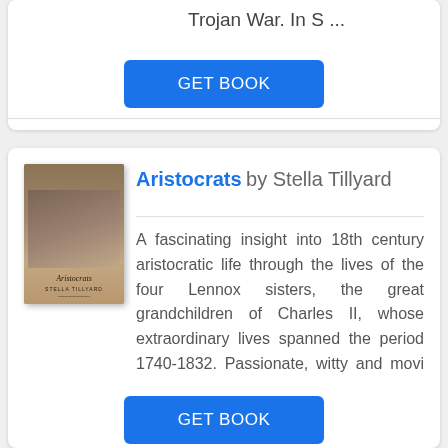Trojan War. In S ...
[Figure (illustration): GET BOOK button (blue rounded rectangle, white text)]
[Figure (photo): Book cover of Aristocrats by Stella Tillyard showing four women]
Aristocrats by Stella Tillyard
A fascinating insight into 18th century aristocratic life through the lives of the four Lennox sisters, the great grandchildren of Charles II, whose extraordinary lives spanned the period 1740-1832. Passionate, witty and movi ...
[Figure (illustration): GET BOOK button (blue rounded rectangle, white text) partially visible at bottom]